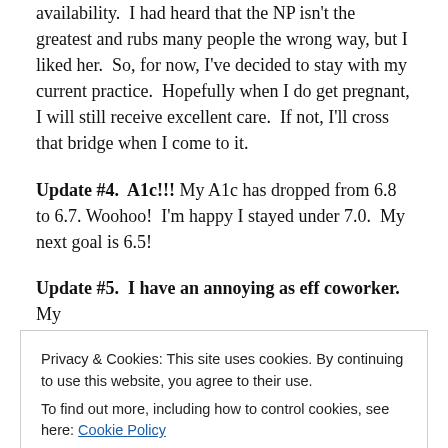availability.  I had heard that the NP isn't the greatest and rubs many people the wrong way, but I liked her.  So, for now, I've decided to stay with my current practice.  Hopefully when I do get pregnant, I will still receive excellent care.  If not, I'll cross that bridge when I come to it.
Update #4.  A1c!!!  My A1c has dropped from 6.8 to 6.7.  Woohoo!  I'm happy I stayed under 7.0.  My next goal is 6.5!
Update #5.  I have an annoying as eff coworker.  My
Privacy & Cookies: This site uses cookies. By continuing to use this website, you agree to their use.
To find out more, including how to control cookies, see here: Cookie Policy
storm of low blood sugar, PMS, and am having a shitty